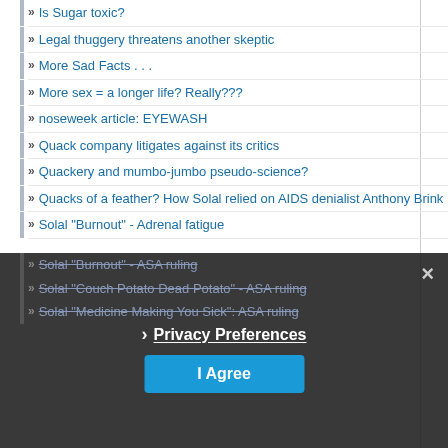Is Sugar toxic?
Legal thuggery threatens another skeptic
More Sad Facts . . .
More sex = a longer life? Really???
noseweek article: EYEWASH
Quack company litigates against its critics
Quackery and mumbo-jumbo pseudo-science?
Quacks of a feather? How Solal relied on AIDS denialist Anthony Brink
Solal "Burnout" - Adrenal fatigue
Solal "Burnout" - ASA ruling
Solal "Couch Potato Dead Potato" - ASA ruling
Solal "Medicine Making You Sick": ASA ruling
Privacy Preferences
I Agree